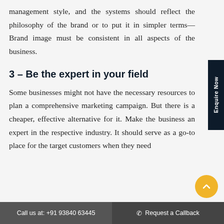management style, and the systems should reflect the philosophy of the brand or to put it in simpler terms—Brand image must be consistent in all aspects of the business.
3 – Be the expert in your field
Some businesses might not have the necessary resources to plan a comprehensive marketing campaign. But there is a cheaper, effective alternative for it. Make the business an expert in the respective industry. It should serve as a go-to place for the target customers when they need...
Call us at: +91 93840 63445   ☎ Request a Callback